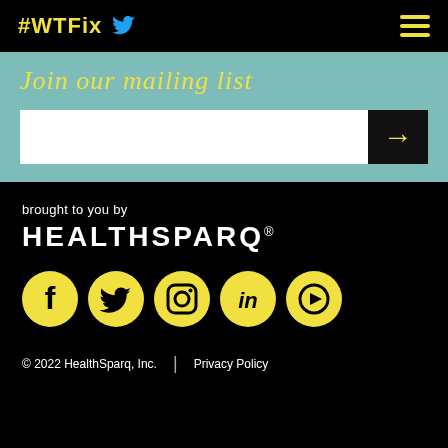#WTFix
Join our mailing list
[Figure (infographic): Email input field with black submit button containing a yellow right-arrow]
brought to you by
[Figure (logo): HEALTHSPARQ wordmark in white on black background]
[Figure (infographic): Five yellow circular social media icons: Facebook, Twitter, Instagram, LinkedIn, YouTube/play]
© 2022 HealthSparq, Inc.  |  Privacy Policy